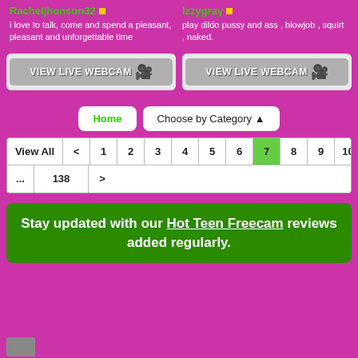Racheljhonson32 - i love to talk, come and spend a pleasant, pleasant and unforgettable time
Izzygray - play dildo pussy and ass , blowjob , squirt , naked.
[Figure (other): VIEW LIVE WEBCAM button with webcam icon (left)]
[Figure (other): VIEW LIVE WEBCAM button with webcam icon (right)]
Home | Choose by Category
| View All | < | 1 | 2 | 3 | 4 | 5 | 6 | 7 | 8 | 9 | 10 | 11 |
| --- | --- | --- | --- | --- | --- | --- | --- | --- | --- | --- | --- | --- |
| ... | 138 | > |
Stay updated with our Hot Teen Freecam reviews added regularly.